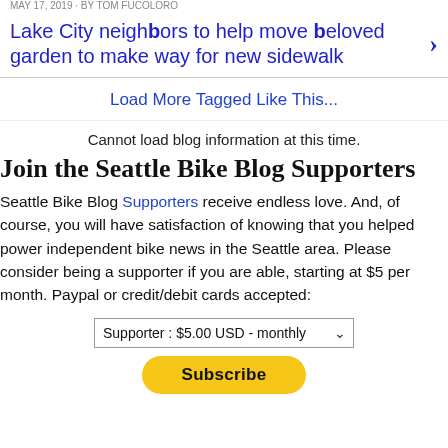MAY 17, 2019 · BY TOM FUCOLORO
Lake City neighbors to help move beloved garden to make way for new sidewalk
Load More Tagged Like This...
Cannot load blog information at this time.
Join the Seattle Bike Blog Supporters
Seattle Bike Blog Supporters receive endless love. And, of course, you will have satisfaction of knowing that you helped power independent bike news in the Seattle area. Please consider being a supporter if you are able, starting at $5 per month. Paypal or credit/debit cards accepted:
Supporter : $5.00 USD - monthly
Subscribe